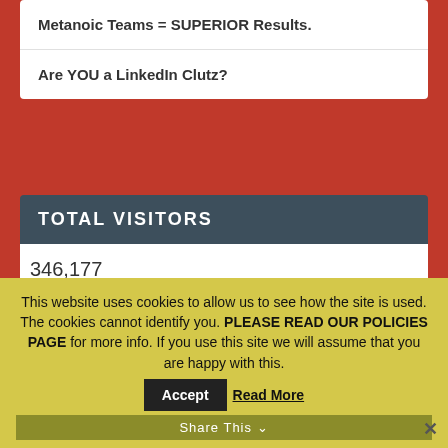Metanoic Teams = SUPERIOR Results.
Are YOU a LinkedIn Clutz?
TOTAL VISITORS
346,177
NUGGET VIEWS
Starch Diet...But Still Hungry?
Views: 7785
This website uses cookies to allow us to see how the site is used. The cookies cannot identify you. PLEASE READ OUR POLICIES PAGE for more info. If you use this site we will assume that you are happy with this.
Share This